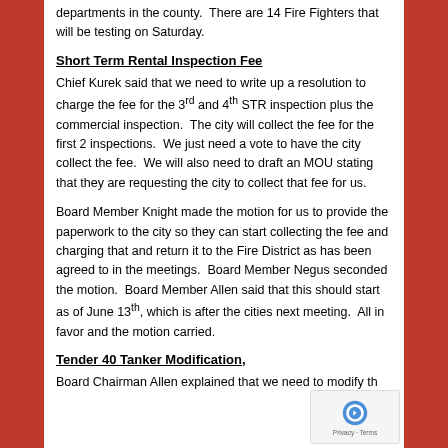departments in the county.  There are 14 Fire Fighters that will be testing on Saturday.
Short Term Rental Inspection Fee
Chief Kurek said that we need to write up a resolution to charge the fee for the 3rd and 4th STR inspection plus the commercial inspection.  The city will collect the fee for the first 2 inspections.  We just need a vote to have the city collect the fee.  We will also need to draft an MOU stating that they are requesting the city to collect that fee for us.
Board Member Knight made the motion for us to provide the paperwork to the city so they can start collecting the fee and charging that and return it to the Fire District as has been agreed to in the meetings.  Board Member Negus seconded the motion.  Board Member Allen said that this should start as of June 13th, which is after the cities next meeting.  All in favor and the motion carried.
Tender 40 Tanker Modification,
Board Chairman Allen explained that we need to modify th